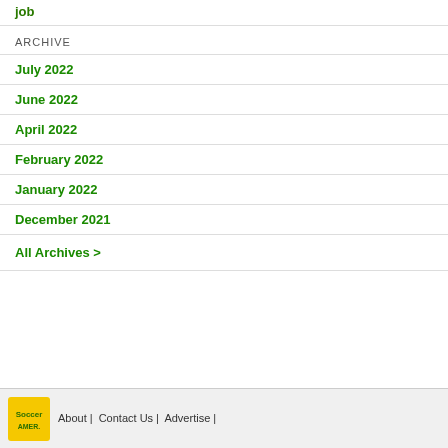job
ARCHIVE
July 2022
June 2022
April 2022
February 2022
January 2022
December 2021
All Archives >
About | Contact Us | Advertise |